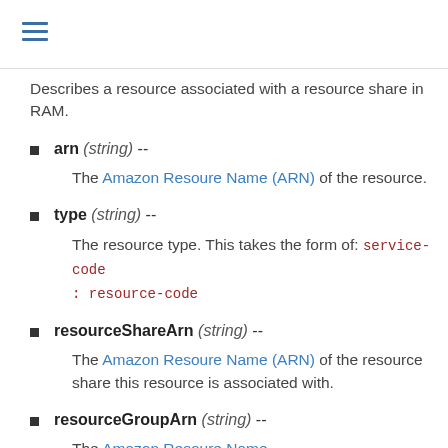Describes a resource associated with a resource share in RAM.
arn (string) --
The Amazon Resoure Name (ARN) of the resource.
type (string) --
The resource type. This takes the form of: service-code : resource-code
resourceShareArn (string) --
The Amazon Resoure Name (ARN) of the resource share this resource is associated with.
resourceGroupArn (string) --
The Amazon Resoure Name